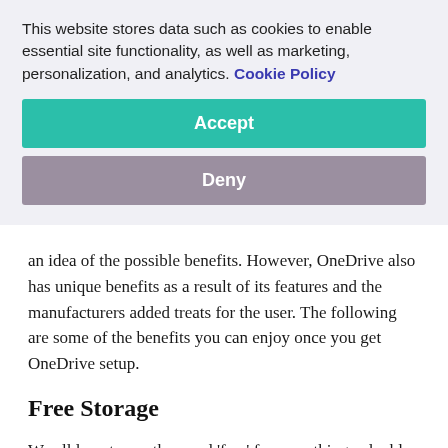This website stores data such as cookies to enable essential site functionality, as well as marketing, personalization, and analytics. Cookie Policy
Accept
Deny
an idea of the possible benefits. However, OneDrive also has unique benefits as a result of its features and the manufacturers added treats for the user. The following are some of the benefits you can enjoy once you get OneDrive setup.
Free Storage
We all love to see the word ‘free’ for something valuable and Microsoft is aware of that. OneDrive offers 5GB of free storage. If you are looking for extra space to store particular documents, then this would be sufficient. This